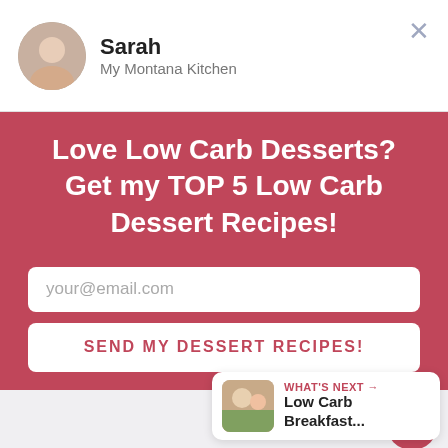Sarah
My Montana Kitchen
Love Low Carb Desserts?
Get my TOP 5 Low Carb Dessert Recipes!
your@email.com
SEND MY DESSERT RECIPES!
[Figure (other): Heart icon with count 46.3K and share icon]
WHAT'S NEXT → Low Carb Breakfast...